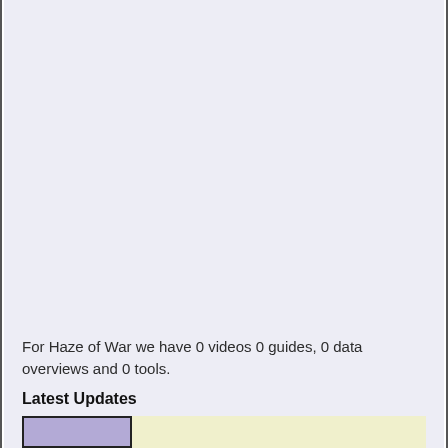For Haze of War we have 0 videos 0 guides, 0 data overviews and 0 tools.
Latest Updates
[Figure (screenshot): A card row with a purple/lavender thumbnail image on the left and a light yellow content area on the right.]